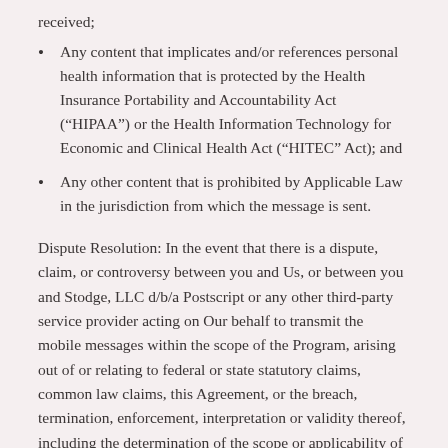received;
Any content that implicates and/or references personal health information that is protected by the Health Insurance Portability and Accountability Act (“HIPAA”) or the Health Information Technology for Economic and Clinical Health Act (“HITEC” Act); and
Any other content that is prohibited by Applicable Law in the jurisdiction from which the message is sent.
Dispute Resolution: In the event that there is a dispute, claim, or controversy between you and Us, or between you and Stodge, LLC d/b/a Postscript or any other third-party service provider acting on Our behalf to transmit the mobile messages within the scope of the Program, arising out of or relating to federal or state statutory claims, common law claims, this Agreement, or the breach, termination, enforcement, interpretation or validity thereof, including the determination of the scope or applicability of this agreement